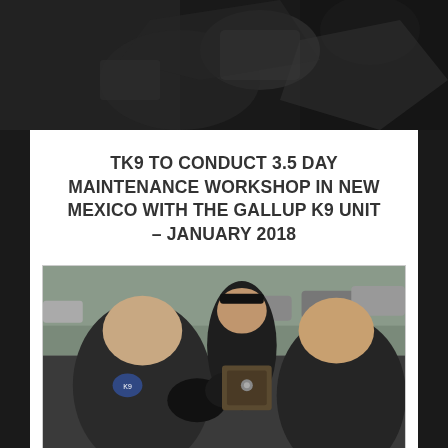[Figure (photo): Close-up photo of hands in black gloves working with equipment, dark background]
TK9 TO CONDUCT 3.5 DAY MAINTENANCE WORKSHOP IN NEW MEXICO WITH THE GALLUP K9 UNIT – JANUARY 2018
[Figure (photo): Photo of law enforcement officers in black uniforms and gloves working with equipment outdoors in a parking lot]